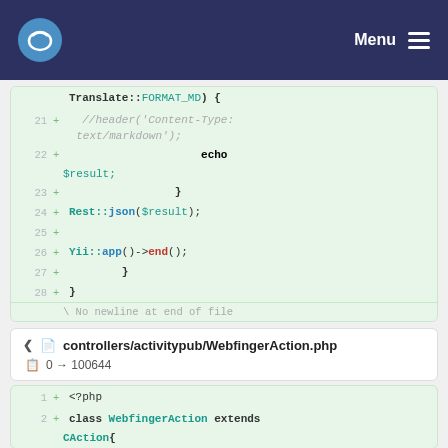Menu
[Figure (screenshot): Code diff view showing PHP code lines 21-28 with green highlighted additions, including echo $result, Rest::json($result), Yii::app()->end(), and closing braces. Last line shows 'No newline at end of file'.]
controllers/activitypub/WebfingerAction.php
0 → 100644
[Figure (screenshot): Code diff view showing PHP file beginning with lines 1: + <?php and 2: + class WebfingerAction extends CAction{]